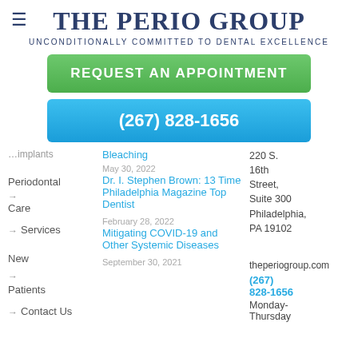[Figure (logo): The Perio Group logo with hamburger menu icon, title 'THE PERIO GROUP' and subtitle 'UNCONDITIONALLY COMMITTED TO DENTAL EXCELLENCE']
REQUEST AN APPOINTMENT
(267) 828-1656
Implants
Bleaching
May 30, 2022
Periodontal
Dr. I. Stephen Brown: 13 Time Philadelphia Magazine Top Dentist
220 S. 16th Street, Suite 300 Philadelphia, PA 19102
Care
Services
February 28, 2022
New
Mitigating COVID-19 and Other Systemic Diseases
theperiogroup.com
Patients
(267) 828-1656
Contact Us
Monday-Thursday
September 30, 2021